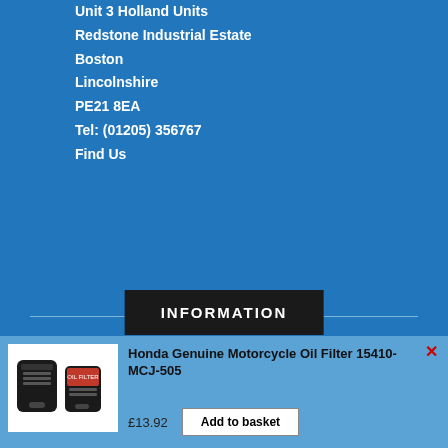Unit 3 Holland Units
Redstone Industrial Estate
Boston
Lincolnshire
PE21 8EA
Tel: (01205) 356767
Find Us
INFORMATION
T & C's
Cookie Policy
Privacy Policy
FAQ's
Site Map
[Figure (photo): Honda oil filter product image showing two oil filters]
Honda Genuine Motorcycle Oil Filter 15410-MCJ-505
£13.92
Add to basket